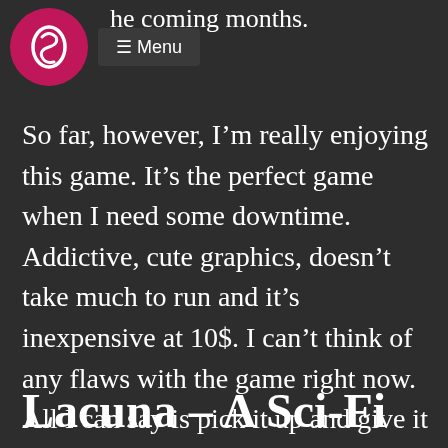the coming months.
[Figure (logo): Pink circular logo with stylized letter S and hamburger menu icon labeled Menu]
So far, however, I’m really enjoying this game. It’s the perfect game when I need some downtime. Addictive, cute graphics, doesn’t take much to run and it’s inexpensive at 10$. I can’t think of any flaws with the game right now. All I can say is pick it up and give it a go!
Lacuna – A Sci-Fi